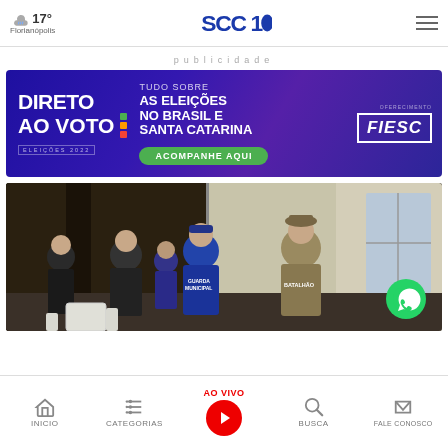17° Florianópolis | SCC10 | menu
publicidade
[Figure (illustration): Advertisement banner: 'DIRETO AO VOTO - ELEIÇÕES 2022 - TUDO SOBRE AS ELEIÇÕES NO BRASIL E SANTA CATARINA - ACOMPANHE AQUI' sponsored by FIESC. Purple/blue gradient background.]
[Figure (photo): News photo showing police officers and guards (Guarda Municipal, Batalhão) from behind, entering or standing at a building entrance at night. WhatsApp chat button visible bottom right.]
INICIO | CATEGORIAS | AO VIVO | BUSCA | FALE CONOSCO